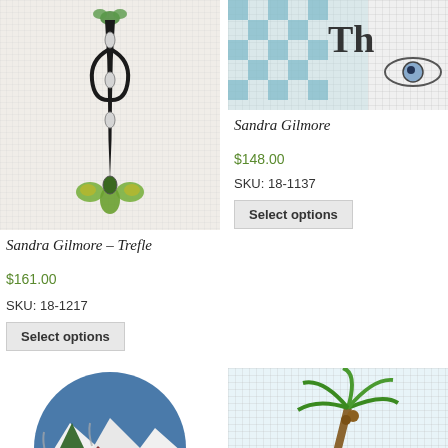[Figure (photo): Needlepoint canvas of Sandra Gilmore Trefle design - black art nouveau style pendant with green clover/trefoil on grid canvas background]
Sandra Gilmore – Trefle
$161.00
SKU: 18-1217
Select options
[Figure (photo): Needlepoint canvas partially visible - shows blue checkered pattern with text 'Th' and decorative eye/fish element on right side]
Sandra Gilmore
$148.00
SKU: 18-1137
Select options
[Figure (photo): Round needlepoint ornament showing winter village scene with snow-covered mountains, red and brown houses, snow, on blue-grey background]
[Figure (photo): Needlepoint canvas showing tropical scene with teal/green palm tree and colorful elements on grid canvas]